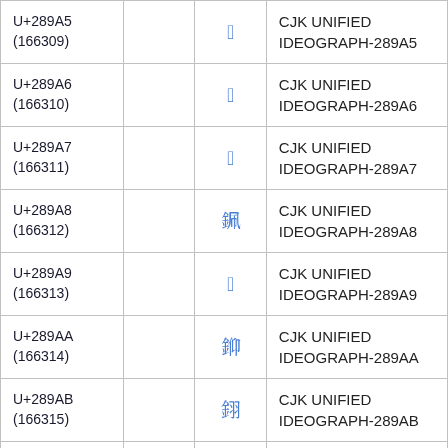| U+289A5
(166309) |  | [glyph] | CJK UNIFIED IDEOGRAPH-289A5 |
| U+289A6
(166310) |  | [glyph] | CJK UNIFIED IDEOGRAPH-289A6 |
| U+289A7
(166311) |  | [glyph] | CJK UNIFIED IDEOGRAPH-289A7 |
| U+289A8
(166312) |  | [glyph] | CJK UNIFIED IDEOGRAPH-289A8 |
| U+289A9
(166313) |  | [glyph] | CJK UNIFIED IDEOGRAPH-289A9 |
| U+289AA
(166314) |  | [glyph] | CJK UNIFIED IDEOGRAPH-289AA |
| U+289AB
(166315) |  | [glyph] | CJK UNIFIED IDEOGRAPH-289AB |
| U+289AC |  | [glyph] | CJK UNIFIED IDEOGRAPH- |